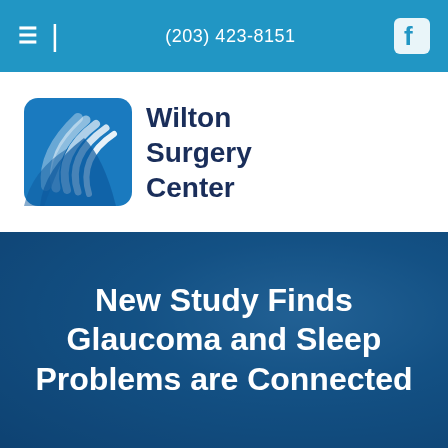(203) 423-8151
[Figure (logo): Wilton Surgery Center logo with stylized blue layered arc icon and text 'Wilton Surgery Center']
New Study Finds Glaucoma and Sleep Problems are Connected